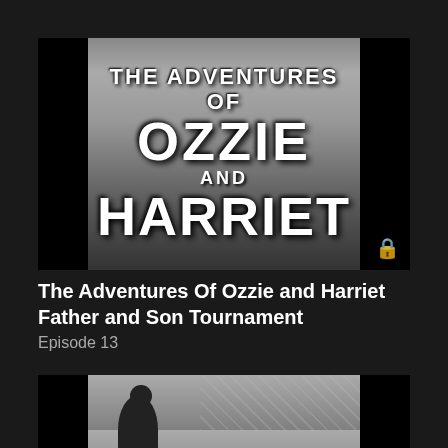[Figure (screenshot): Black and white title card from 'The Adventures of Ozzie and Harriet' TV show. Large white lettering on a dark background with trees/building visible behind. A padlock icon appears in the lower right corner.]
The Adventures Of Ozzie and Harriet Father and Son Tournament
Episode 13
[Figure (screenshot): Black and white scene from 'The Adventures of Ozzie and Harriet' showing a person looking up, with a white picket fence and lattice work visible in the background.]